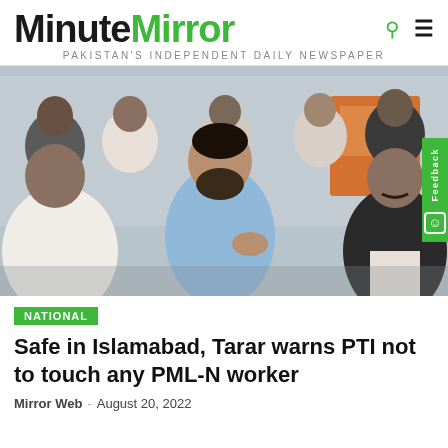MinuteMirror — PAKISTAN'S INDEPENDENT DAILY NEWSPAPER
[Figure (photo): Group of men walking outdoors, central figure in light blue shirt with beard speaking or addressing crowd, other men in suits and white shirts surrounding him]
NATIONAL
Safe in Islamabad, Tarar warns PTI not to touch any PML-N worker
Mirror Web - August 20, 2022